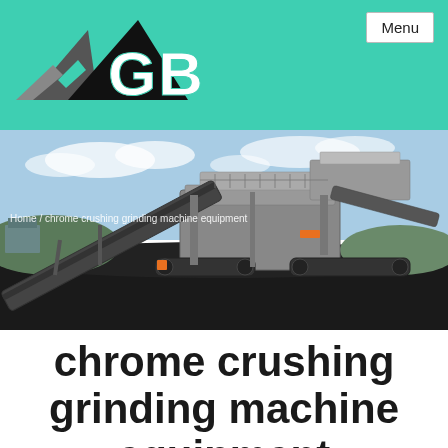GBM | Menu
[Figure (photo): Large mobile crushing and screening plant machinery on a job site with dark crushed material on the ground and blue sky background. Breadcrumb text: Home / chrome crushing grinding machine equipment]
chrome crushing grinding machine equipment